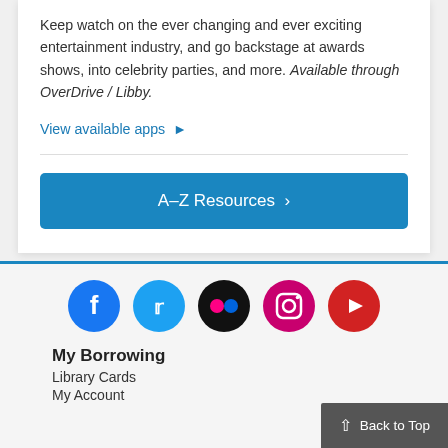Keep watch on the ever changing and ever exciting entertainment industry, and go backstage at awards shows, into celebrity parties, and more. Available through OverDrive / Libby.
View available apps ▶
A–Z Resources ›
[Figure (infographic): Row of five social media icons: Facebook (blue circle), Twitter (light blue circle), Flickr (black circle with dots), Instagram (pink/magenta circle), YouTube (red circle)]
My Borrowing
Library Cards
My Account
Back to Top